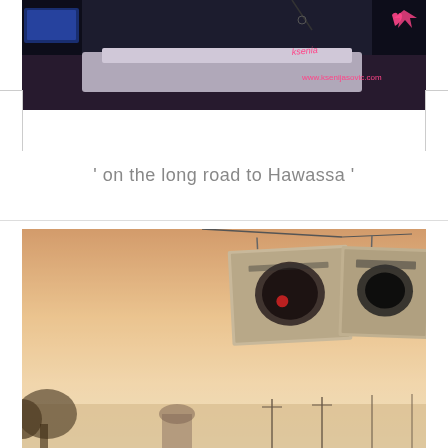[Figure (photo): Dark indoor photo with a bed/room scene, with a handwritten pink signature and URL 'www.ksenijasovic.com' overlaid on the right side.]
' on the long road to Hawassa '
[Figure (photo): Outdoor sepia-toned photo showing road signs hanging against a hazy dusty sky, with trees and buildings visible at the bottom, taken from a moving vehicle on the road to Hawassa.]